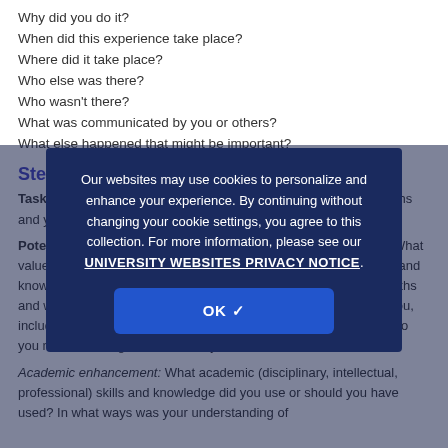Why did you do it?
When did this experience take place?
Where did it take place?
Who else was there?
Who wasn't there?
What was communicated by you or others?
What else happened that might be important?
Step 2: Examining the experience
Task: Examine your experience in detail, such as personal strengths and your level of engagement
Potential prompts: Priorities: What assumptions did you make? What values came into play? Were they validated? What personal skills and knowledge did you use? What effect did you, including your strengths and weaknesses, have on the service provided? What effect did you, including your strengths and weaknesses, have on others? What do you need to change and how will you do that?
Academic enhancement: What academic (disciplinary, intellectual, professional) skills and knowledge did you use or should you have used? In what ways was your understanding of
Our websites may use cookies to personalize and enhance your experience. By continuing without changing your cookie settings, you agree to this collection. For more information, please see our UNIVERSITY WEBSITES PRIVACY NOTICE.